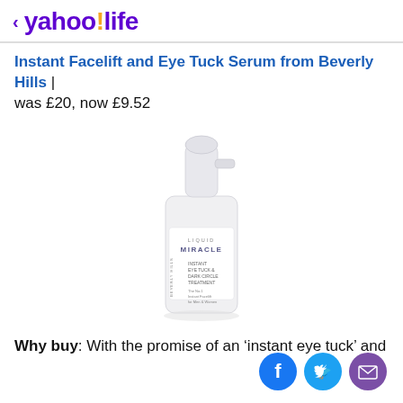< yahoo!life
Instant Facelift and Eye Tuck Serum from Beverly Hills | was £20, now £9.52
[Figure (photo): A white pump bottle of Liquid Miracle Beverly Hills Instant Eye Tuck & Dark Circle Treatment serum product]
Why buy: With the promise of an 'instant eye tuck' and